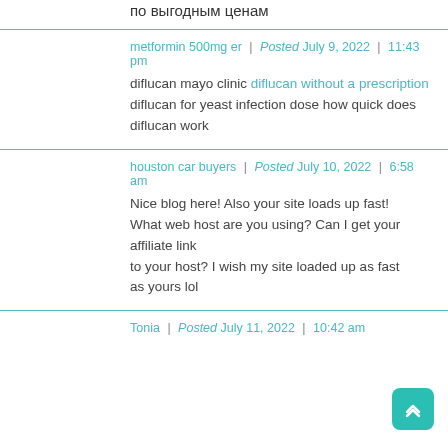по выгодным ценам
metformin 500mg er  |  Posted July 9, 2022  |  11:43 pm
diflucan mayo clinic diflucan without a prescription diflucan for yeast infection dose how quick does diflucan work
houston car buyers  |  Posted July 10, 2022  |  6:58 am
Nice blog here! Also your site loads up fast!
What web host are you using? Can I get your affiliate link to your host? I wish my site loaded up as fast
as yours lol
Tonia  |  Posted July 11, 2022  |  10:42 am